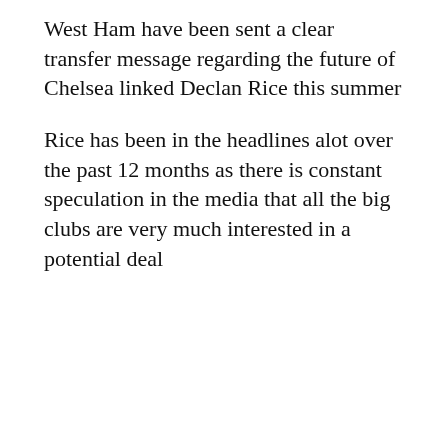West Ham have been sent a clear transfer message regarding the future of Chelsea linked Declan Rice this summer
Rice has been in the headlines alot over the past 12 months as there is constant speculation in the media that all the big clubs are very much interested in a potential deal